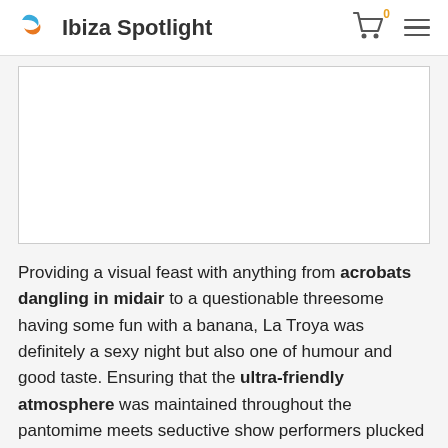Ibiza Spotlight
[Figure (photo): White rectangular image placeholder area]
Providing a visual feast with anything from acrobats dangling in midair to a questionable threesome having some fun with a banana, La Troya was definitely a sexy night but also one of humour and good taste. Ensuring that the ultra-friendly atmosphere was maintained throughout the pantomime meets seductive show performers plucked several lucky crowd members from the